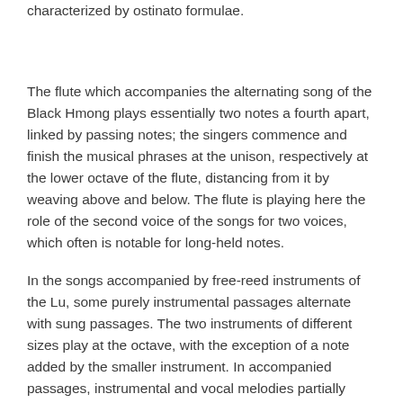characterized by ostinato formulae.
The flute which accompanies the alternating song of the Black Hmong plays essentially two notes a fourth apart, linked by passing notes; the singers commence and finish the musical phrases at the unison, respectively at the lower octave of the flute, distancing from it by weaving above and below. The flute is playing here the role of the second voice of the songs for two voices, which often is notable for long-held notes.
In the songs accompanied by free-reed instruments of the Lu, some purely instrumental passages alternate with sung passages. The two instruments of different sizes play at the octave, with the exception of a note added by the smaller instrument. In accompanied passages, instrumental and vocal melodies partially